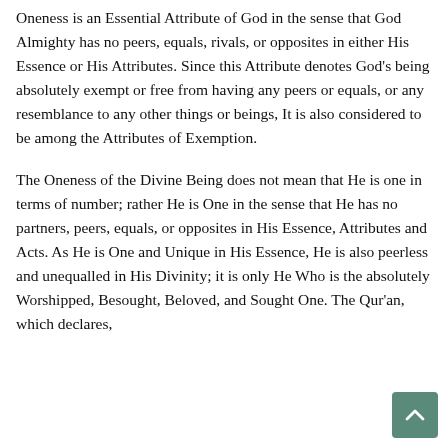Oneness is an Essential Attribute of God in the sense that God Almighty has no peers, equals, rivals, or opposites in either His Essence or His Attributes. Since this Attribute denotes God's being absolutely exempt or free from having any peers or equals, or any resemblance to any other things or beings, It is also considered to be among the Attributes of Exemption.
The Oneness of the Divine Being does not mean that He is one in terms of number; rather He is One in the sense that He has no partners, peers, equals, or opposites in His Essence, Attributes and Acts. As He is One and Unique in His Essence, He is also peerless and unequalled in His Divinity; it is only He Who is the absolutely Worshipped, Besought, Beloved, and Sought One. The Qur'an, which declares,